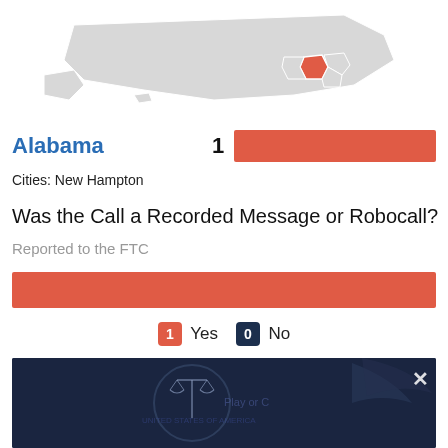[Figure (map): Partial US map with Alabama highlighted in red]
Alabama  1
Cities: New Hampton
Was the Call a Recorded Message or Robocall?
Reported to the FTC
[Figure (bar-chart): Was the Call a Recorded Message or Robocall?]
[Figure (photo): FTC seal / scales of justice dark blue background image with X close button]